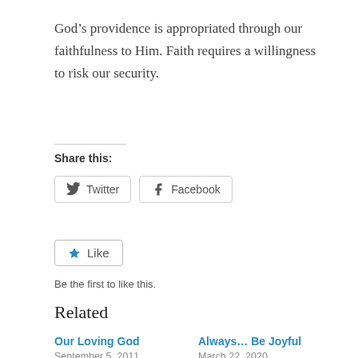God’s providence is appropriated through our faithfulness to Him. Faith requires a willingness to risk our security.
Share this:
Twitter  Facebook
Like  Be the first to like this.
Related
Our Loving God  September 5, 2011
Always… Be Joyful  March 22, 2020